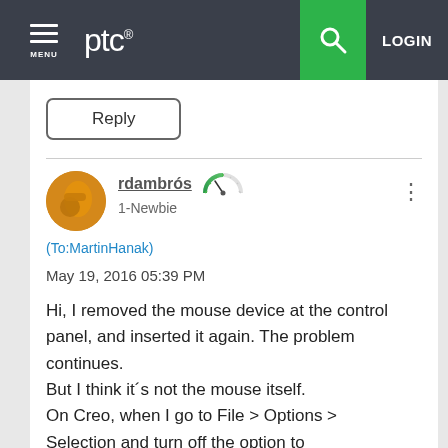MENU | ptc® | [search] | LOGIN
Reply
rdambrós  1-Newbie
(To:MartinHanak)
May 19, 2016 05:39 PM
Hi, I removed the mouse device at the control panel, and inserted it again. The problem continues.
But I think it´s not the mouse itself.
On Creo, when I go to File > Options > Selection and turn off the option to enable preselection highlighting, I can